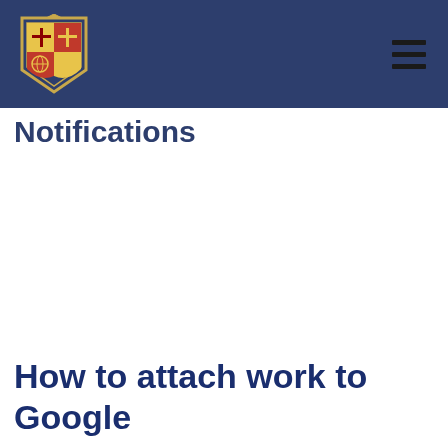Notifications
How to attach work to Google